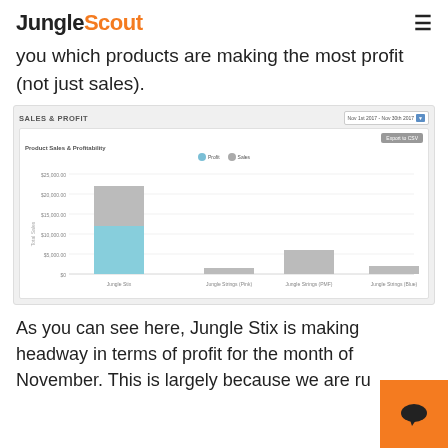JungleScout
you which products are making the most profit (not just sales).
[Figure (screenshot): Jungle Scout dashboard screenshot showing 'SALES & PROFIT' section with date range Nov 1st 2017 - Nov 30th 2017. Contains a bar chart titled 'Product Sales & Profitability' with bars for Jungle Stix (tall blue/gray stacked bar), Jungle Strings (Pink) (small gray bar), Jungle Strings (PMF) (medium gray bar), and Jungle Strings (Blue) (small gray bar). Y-axis shows Total Sales values.]
As you can see here, Jungle Stix is making headway in terms of profit for the month of November. This is largely because we are ru...